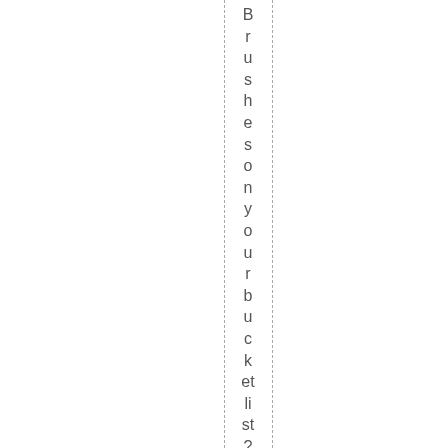Brushes on your bucket list? Choo